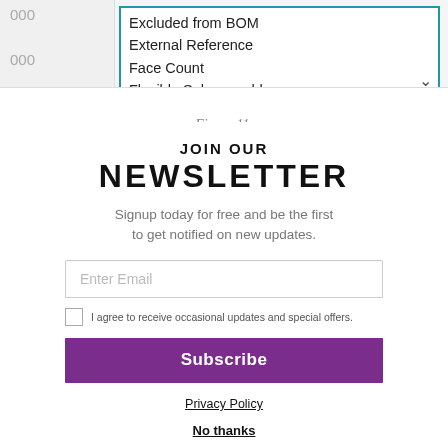[Figure (screenshot): Partial screenshot of a software UI showing a dropdown list with items: Excluded from BOM, External Reference, Face Count, Flexible Subassembly. Left column shows partial values '000' and '000'.]
Figure 11.
JOIN OUR NEWSLETTER
Signup today for free and be the first to get notified on new updates.
Enter Email
I agree to receive occasional updates and special offers.
Subscribe
Privacy Policy
No thanks